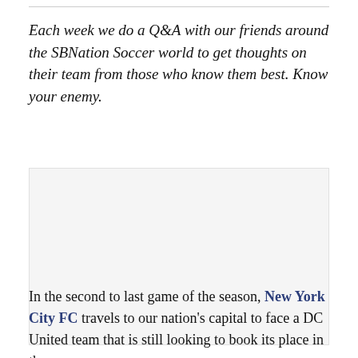Each week we do a Q&A with our friends around the SBNation Soccer world to get thoughts on their team from those who know them best. Know your enemy.
[Figure (photo): Image placeholder area (photo not visible in this crop)]
In the second to last game of the season, New York City FC travels to our nation's capital to face a DC United team that is still looking to book its place in the